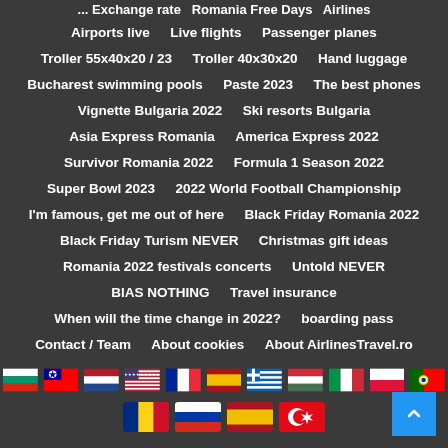... Exchange rate   Romania Free Days   Airlines
Airports live   Live flights   Passenger planes
Troller 55x40x20 / 23   Troller 40x30x20   Hand luggage
Bucharest swimming pools   Paste 2023   The best phones
Vignette Bulgaria 2022   Ski resorts Bulgaria
Asia Express Romania   America Express 2022
Survivor Romania 2022   Formula 1 Season 2022
Super Bowl 2023   2022 World Football Championship
I'm famous, get me out of here   Black Friday Romania 2022
Black Friday Turism NEVER   Christmas gift ideas
Romania 2022 festivals concerts   Untold NEVER
BIAS NOTHING   Travel insurance
When will the time change in 2022?   boarding pass
Contact / Team   About cookies   About AirlinesTravel.ro
[Figure (other): Two rows of country flag icons: Bulgaria, Taiwan, Netherlands, USA, France, Spain, Greece, Hungary, Italy, Poland, Portugal (top row); Romania, Russia, Spain, Turkey (bottom row)]
[Figure (other): Blue scroll-to-top button with arrow icon in bottom right corner]